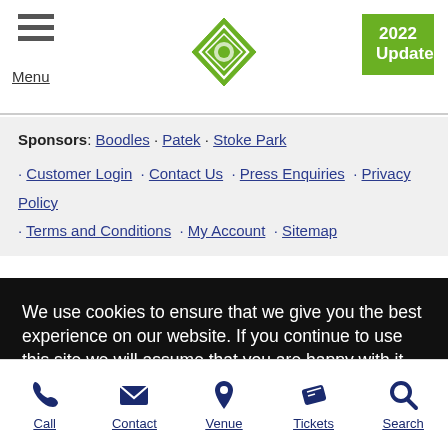Menu | [Logo] | 2022 Update
Sponsors: Boodles · Patek · Stoke Park
• Customer Login • Contact Us • Press Enquiries • Privacy Policy • Terms and Conditions • My Account • Sitemap
We use cookies to ensure that we give you the best experience on our website. If you continue to use this site we will assume that you are happy with it.
OK
Call | Contact | Venue | Tickets | Search